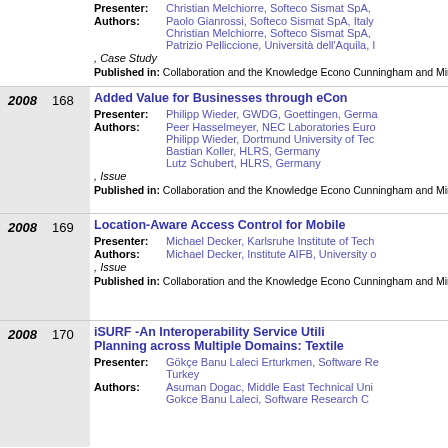Presenter: Christian Melchiorre, Softeco Sismat SpA, Authors: Paolo Gianrossi, Softeco Sismat SpA, Italy; Christian Melchiorre, Softeco Sismat SpA; Patrizio Pelliccione, Università dell'Aquila, I , Case Study Published in: Collaboration and the Knowledge Economy Cunningham and Miriam Cunningham (Eds), IOS Press ISBN: 978-1-58603-924-0
2008 168 Added Value for Businesses through eCon Presenter: Philipp Wieder, GWDG, Goettingen, Germany Authors: Peer Hasselmeyer, NEC Laboratories Euro; Philipp Wieder, Dortmund University of Tec; Bastian Koller, HLRS, Germany; Lutz Schubert, HLRS, Germany , Issue Published in: Collaboration and the Knowledge Economy Cunningham and Miriam Cunningham (Eds), IOS Press ISBN: 978-1-58603-924-0
2008 169 Location-Aware Access Control for Mobile Presenter: Michael Decker, Karlsruhe Institute of Tech Authors: Michael Decker, Institute AIFB, University o , Issue Published in: Collaboration and the Knowledge Economy Cunningham and Miriam Cunningham (Eds), IOS Press ISBN: 978-1-58603-924-0
2008 170 iSURF -An Interoperability Service Utility Planning across Multiple Domains: Textile Presenter: Gökçe Banu Laleci Erturkmen, Software Research, Turkey Authors: Asuman Dogac, Middle East Technical Uni; Gokce Banu Laleci, Software Research C